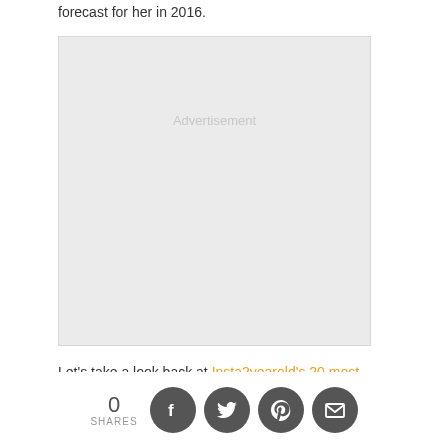forecast for her in 2016.
[Figure (other): Advertisement placeholder box with light gray background]
Let's take a look back at Insta2yearold's 20 most popular Instagrams in 2015 to see where she's been, what she's accomplished
0 SHARES [Facebook] [Twitter] [Pinterest] [Email]